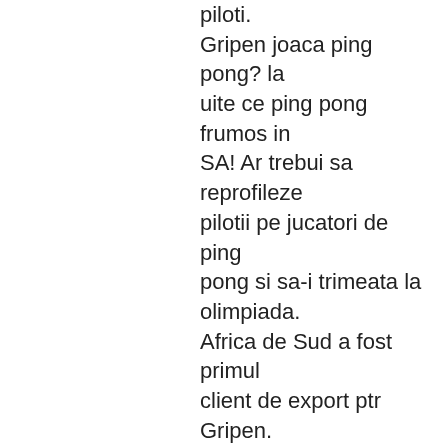piloti. Gripen joaca ping pong? la uite ce ping pong frumos in SA! Ar trebui sa reprofileze pilotii pe jucatori de ping pong si sa-i trimeata la olimpiada. Africa de Sud a fost primul client de export ptr Gripen. Au primit reducere, spaga de la BAE Systems, o parte din avion e produsa local si are cateva modificari fata avionul "normal". Rezultatul: Esec. Aproape jumatate din avioane sunt in conservare (storage), mai putin jumatate zboara si